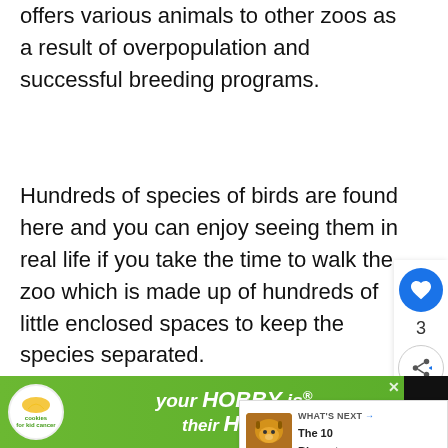offers various animals to other zoos as a result of overpopulation and successful breeding programs.
Hundreds of species of birds are found here and you can enjoy seeing them in real life if you take the time to walk the zoo which is made up of hundreds of little enclosed spaces to keep the species separated.
5. Nehru Zoological Park
[Figure (screenshot): Web UI overlay with heart/like button showing count 3, and share button on the right side of the page]
[Figure (screenshot): What's Next panel showing a tiger image thumbnail with text 'WHAT'S NEXT → The 10 Biggest...']
[Figure (screenshot): Advertisement banner at bottom: 'your HOBBY is their HOPE' with cookies for kid cancer logo on green background]